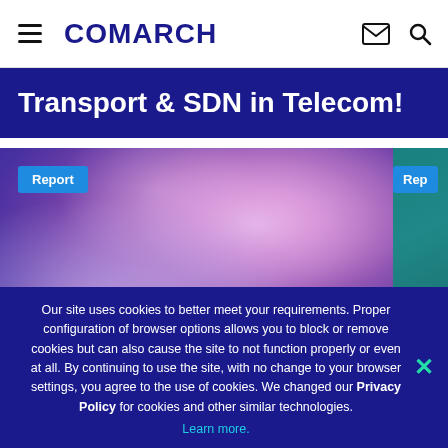COMARCH
Transport & SDN in Telecom!
[Figure (photo): Purple/violet abstract blurred background image for a report card. Has a 'Report' badge label in blue at top left.]
AI/ML for 5G Network Slicing: Accelerating
Our site uses cookies to better meet your requirements. Proper configuration of browser options allows you to block or remove cookies but can also cause the site to not function properly or even at all. By continuing to use the site, with no change to your browser settings, you agree to the use of cookies. We changed our Privacy Policy for cookies and other similar technologies.
Learn more.